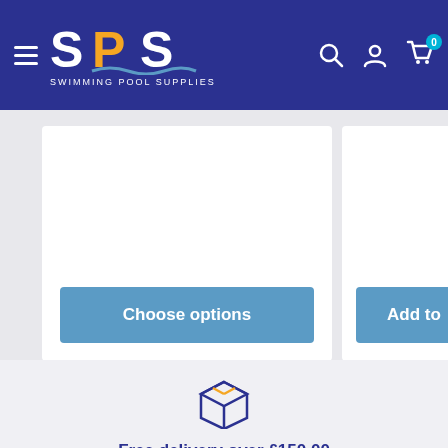[Figure (logo): SPS Swimming Pool Supplies logo with hamburger menu, search, account and cart icons on dark blue header]
[Figure (screenshot): Product card with 'Choose options' button in blue]
[Figure (screenshot): Partial product card with 'Add to' button in blue]
[Figure (illustration): Box/package icon with orange and dark blue outlines representing delivery]
Free delivery over £150.00
Spend over £150.00 and receive free delivery on your order. Terms and conditions apply.